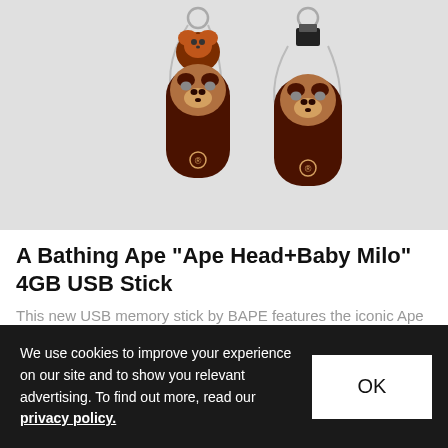[Figure (photo): Two BAPE Ape Head+Baby Milo USB sticks shaped like ape head keychains, one with a small Baby Milo figure on top and one showing the USB connector, both dark brown with keyring attachments, on a light grey background.]
A Bathing Ape "Ape Head+Baby Milo" 4GB USB Stick
This new USB memory stick by BAPE features the iconic Ape head motif on the body and a
Design   Mar 16, 2011   🔥 349   💬 0
We use cookies to improve your experience on our site and to show you relevant advertising. To find out more, read our privacy policy.